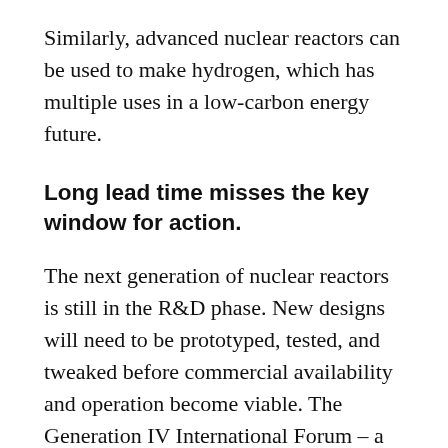Similarly, advanced nuclear reactors can be used to make hydrogen, which has multiple uses in a low-carbon energy future.
Long lead time misses the key window for action.
The next generation of nuclear reactors is still in the R&D phase. New designs will need to be prototyped, tested, and tweaked before commercial availability and operation become viable. The Generation IV International Forum – a collaboration of 14 countries involved in R&D on new nuclear reactor designs – has evaluated 130 conceptual ideas and selected six with